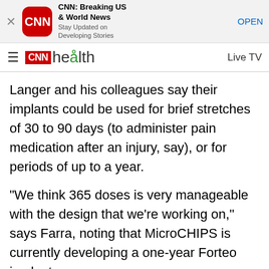[Figure (screenshot): CNN app download banner with CNN logo icon, title 'CNN: Breaking US & World News', subtitle 'Stay Updated on Developing Stories', and an OPEN button]
CNN health | Live TV
Langer and his colleagues say their implants could be used for brief stretches of 30 to 90 days (to administer pain medication after an injury, say), or for periods of up to a year.
"We think 365 doses is very manageable with the design that we're working on," says Farra, noting that MicroCHIPS is currently developing a one-year Forteo implant.
S. Louis Bridges, M.D., the director of clinical immunology and rheumatology at the University of